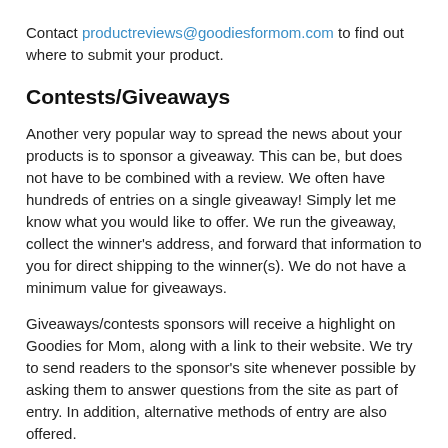Contact productreviews@goodiesformom.com to find out where to submit your product.
Contests/Giveaways
Another very popular way to spread the news about your products is to sponsor a giveaway. This can be, but does not have to be combined with a review. We often have hundreds of entries on a single giveaway! Simply let me know what you would like to offer. We run the giveaway, collect the winner's address, and forward that information to you for direct shipping to the winner(s). We do not have a minimum value for giveaways.
Giveaways/contests sponsors will receive a highlight on Goodies for Mom, along with a link to their website. We try to send readers to the sponsor's site whenever possible by asking them to answer questions from the site as part of entry. In addition, alternative methods of entry are also offered.